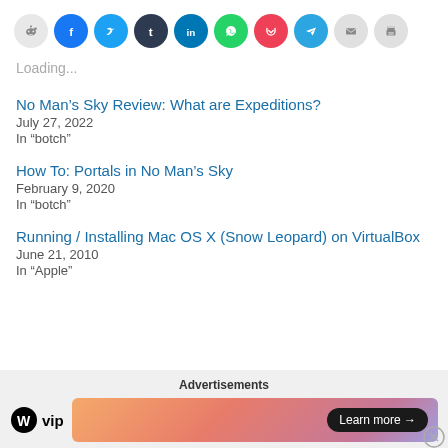[Figure (infographic): Row of social media share icons: Reddit, Facebook, Twitter, Tumblr, LinkedIn, WhatsApp, Pocket, Telegram, Email, Print]
Loading...
No Man's Sky Review: What are Expeditions?
July 27, 2022
In "botch"
How To: Portals in No Man's Sky
February 9, 2020
In "botch"
Running / Installing Mac OS X (Snow Leopard) on VirtualBox
June 21, 2010
In "Apple"
[Figure (infographic): Advertisement bar with WordPress VIP logo and a gradient banner ad with Learn more button]